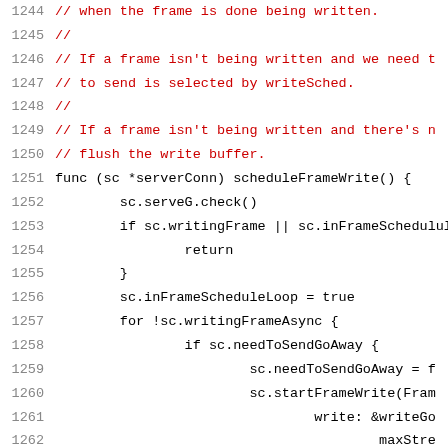[Figure (screenshot): Source code listing in Go language, lines 1244-1265, showing comments about frame writing and a scheduleFrameWrite function implementation with conditionals and loop logic.]